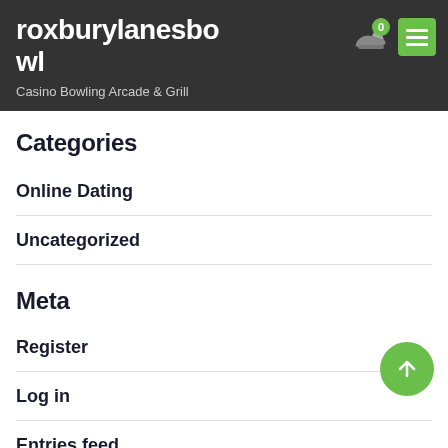roxburylanesbow
Casino Bowling Arcade & Grill
Categories
Online Dating
Uncategorized
Meta
Register
Log in
Entries feed